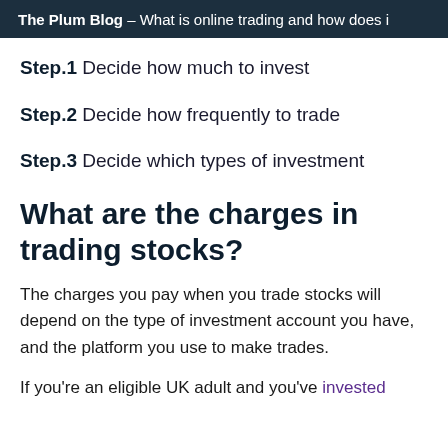The Plum Blog — What is online trading and how does i
Step.1 Decide how much to invest
Step.2 Decide how frequently to trade
Step.3 Decide which types of investment
What are the charges in trading stocks?
The charges you pay when you trade stocks will depend on the type of investment account you have, and the platform you use to make trades.
If you're an eligible UK adult and you've invested